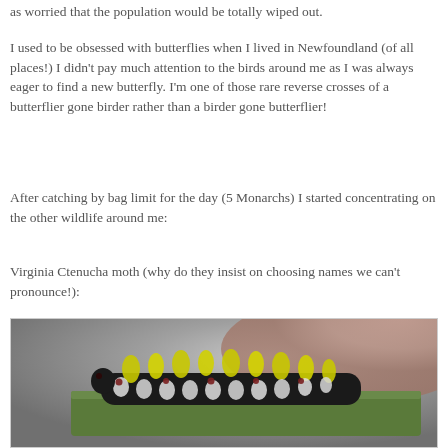as worried that the population would be totally wiped out.
I used to be obsessed with butterflies when I lived in Newfoundland (of all places!) I didn't pay much attention to the birds around me as I was always eager to find a new butterfly. I'm one of those rare reverse crosses of a butterflier gone birder rather than a birder gone butterflier!
After catching by bag limit for the day (5 Monarchs) I started concentrating on the other wildlife around me:
Virginia Ctenucha moth (why do they insist on choosing names we can't pronounce!):
[Figure (photo): Close-up photograph of a Virginia Ctenucha moth caterpillar on a green leaf, showing its distinctive yellow and white/gray fuzzy tufts of hair, with a dark body and small red/black spots, held on a human finger.]